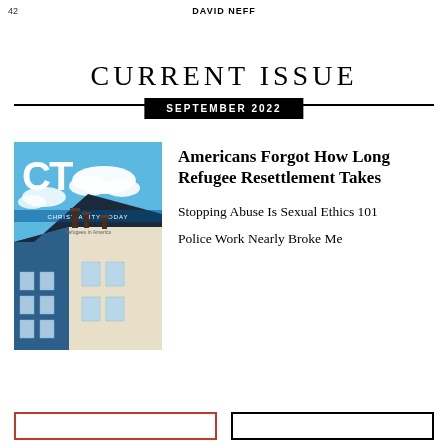42  DAVID NEFF
CURRENT ISSUE
SEPTEMBER 2022
[Figure (photo): Cover of Christianity Today magazine, September 2022 issue, showing an illustrated house with blue siding under a bright blue sky with clouds]
Americans Forgot How Long Refugee Resettlement Takes
Stopping Abuse Is Sexual Ethics 101
Police Work Nearly Broke Me